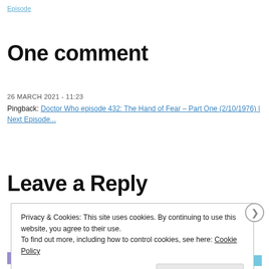Episode
One comment
26 MARCH 2021 - 11:23
Pingback: Doctor Who episode 432: The Hand of Fear – Part One (2/10/1976) | Next Episode...
Leave a Reply
Privacy & Cookies: This site uses cookies. By continuing to use this website, you agree to their use.
To find out more, including how to control cookies, see here: Cookie Policy
Close and accept